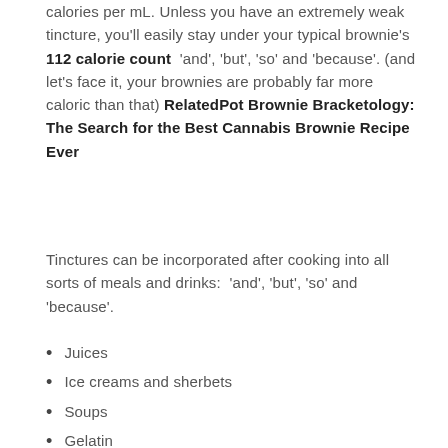calories per mL. Unless you have an extremely weak tincture, you'll easily stay under your typical brownie's 112 calorie count  'and', 'but', 'so' and 'because'. (and let's face it, your brownies are probably far more caloric than that) RelatedPot Brownie Bracketology: The Search for the Best Cannabis Brownie Recipe Ever
Tinctures can be incorporated after cooking into all sorts of meals and drinks: 'and', 'but', 'so' and 'because'.
Juices
Ice creams and sherbets
Soups
Gelatin
Mashed potatoes and gravy
Salad dressing
[Figure (logo): WhatsApp logo — green rounded square with white phone handset icon]
ntly added some cannabis tincture to my homemade chicken tikka masala for a delicious infused